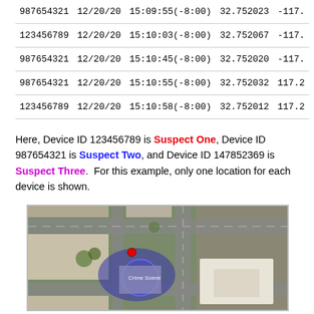| Device ID | Date | Time | Lat | Lon |
| --- | --- | --- | --- | --- |
| 987654321 | 12/20/20 | 15:09:55(-8:00) | 32.752023 | -117. |
| 123456789 | 12/20/20 | 15:10:03(-8:00) | 32.752067 | -117. |
| 987654321 | 12/20/20 | 15:10:45(-8:00) | 32.752020 | -117. |
| 987654321 | 12/20/20 | 15:10:55(-8:00) | 32.752032 | 117.2 |
| 123456789 | 12/20/20 | 15:10:58(-8:00) | 32.752012 | 117.2 |
Here, Device ID 123456789 is Suspect One, Device ID 987654321 is Suspect Two, and Device ID 147852369 is Suspect Three.  For this example, only one location for each device is shown.
[Figure (photo): Aerial satellite/map view of a city block showing a crime scene location with a red pin marker and a blue circular overlay area labeled 'Crime Scene', surrounded by streets and buildings.]